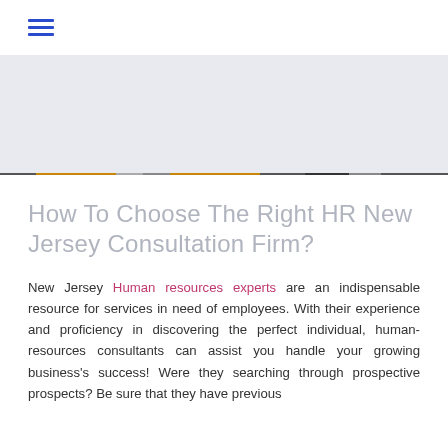☰ (hamburger menu)
[Figure (illustration): Light gray hero banner section with a subtle horizontal decorative striped border at the bottom in various colors including amber/orange, dark gray, and medium gray tones.]
How To Choose The Right HR New Jersey Consultation Firm?
New Jersey Human resources experts are an indispensable resource for services in need of employees. With their experience and proficiency in discovering the perfect individual, human-resources consultants can assist you handle your growing business's success! Were they searching through prospective prospects? Be sure that they have previous